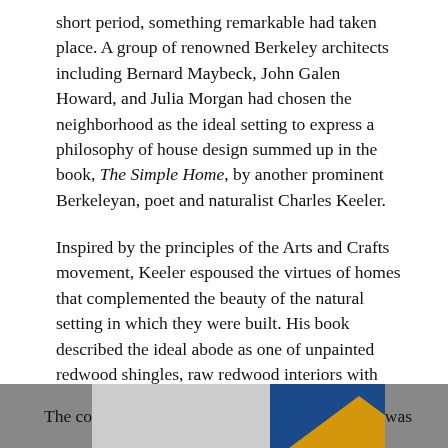short period, something remarkable had taken place. A group of renowned Berkeley architects including Bernard Maybeck, John Galen Howard, and Julia Morgan had chosen the neighborhood as the ideal setting to express a philosophy of house design summed up in the book, The Simple Home, by another prominent Berkeleyan, poet and naturalist Charles Keeler.
Inspired by the principles of the Arts and Crafts movement, Keeler espoused the virtues of homes that complemented the beauty of the natural setting in which they were built. His book described the ideal abode as one of unpainted redwood shingles, raw redwood interiors with rough-hewn beams and minimal adornments. Lush gardens blurred the lines between developed and natural spaces. In building such a home, Keeler wrote, “man is conjuring the beauties of nature into being at his very doorstep.”
The co[image]was